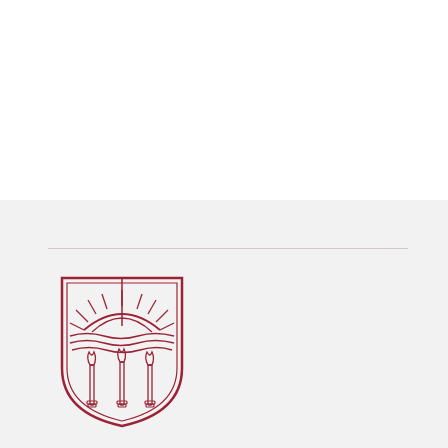[Figure (logo): University shield logo in dark red/crimson outline style. Shield contains a rising sun with radiating rays in the upper half, wavy water lines, and three torches with flames in the lower half.]